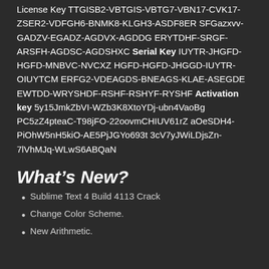License Key TTGISB2-VBTGIS-VBTG7-VBN17-CVK17-ZSER2-VDFGH6-BNMK8-KLGH3-ASDF8ER SFGazxvv-GADZV-EGADZ-AGDVX-AGDDG ERYTDHF-SRGF-ARSFH-AGDSC-AGDSHXC Serial Key IUYTR-JHGFD-HGFD-MNBVC-NVCXZ HGFD-HGFD-JHGGD-IUYTR-OIUYTCM ERFG2-VDEAGDS-BNEAGS-KLAE-ASEGDE EWTDD-WRYSHDF-RSHF-RSHYF-RYSHF Activation key 5y15JmkZbVI-WZb3K8XtoYDj-ubn4VaoBg PC5zZ4pteaC-T98jFO-22oovmCHIUV61rZ aOeSDH4-PiOhW5nH5kiO-AE5PjJGYo693t 3cV7yJWiLDjsZn-7lVhMJq-WLwS6ABQaN
What’s New?
Sublime Text 4 Build 4113 Crack
Change Color Scheme.
New Arithmetic.